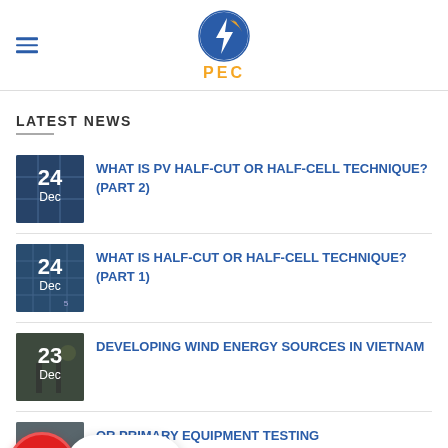[Figure (logo): PEC company logo - blue circle with lightning bolt and orange solar panel pattern, orange PEC text below]
LATEST NEWS
[Figure (photo): News thumbnail showing solar panel cells, date overlay: 24 Dec]
WHAT IS PV HALF-CUT OR HALF-CELL TECHNIQUE? (PART 2)
[Figure (photo): News thumbnail showing solar panel cells, date overlay: 24 Dec]
WHAT IS HALF-CUT OR HALF-CELL TECHNIQUE? (PART 1)
[Figure (photo): News thumbnail showing wind turbines, date overlay: 23 Dec]
DEVELOPING WIND ENERGY SOURCES IN VIETNAM
[Figure (photo): News thumbnail partially obscured, date overlay visible, for primary equipment testing article]
OR PRIMARY EQUIPMENT TESTING
[Figure (infographic): Phone popup with red circle phone icon and numbers 1900.98.98.91 and 0346.51.01.90]
MPPT ALGORITHM